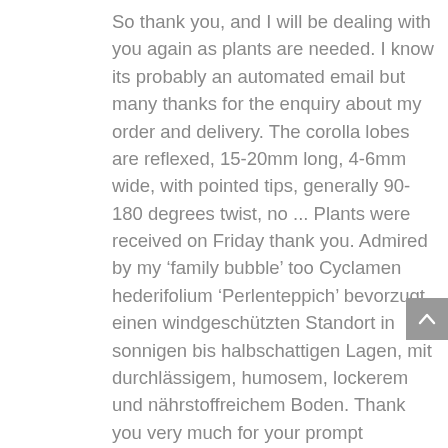So thank you, and I will be dealing with you again as plants are needed. I know its probably an automated email but many thanks for the enquiry about my order and delivery. The corolla lobes are reflexed, 15-20mm long, 4-6mm wide, with pointed tips, generally 90-180 degrees twist, no ... Plants were received on Friday thank you. Admired by my ‘family bubble’ too Cyclamen hederifolium ‘Perlenteppich’ bevorzugt einen windgeschützten Standort in sonnigen bis halbschattigen Lagen, mit durchlässigem, humosem, lockerem und nährstoffreichem Boden. Thank you very much for your prompt attention. This is the 4th time I’ve ordered hedge plants from you and I laid the hedge we planted at our allotment site last year - great plants have now made a lovely hedge... here’s a photo! Cultural Instructions They are perfect for naturalising if left undisturbed. Each one full of promise and look forward to their fruits. ground and watching them flourish! Dear Ashbridge, I want to thank you for your